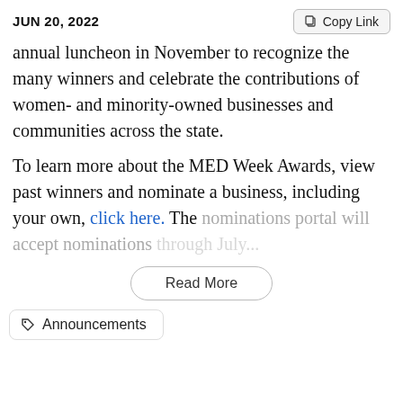JUN 20, 2022
annual luncheon in November to recognize the many winners and celebrate the contributions of women- and minority-owned businesses and communities across the state.
To learn more about the MED Week Awards, view past winners and nominate a business, including your own, click here. The nominations portal will accept nominations through July...